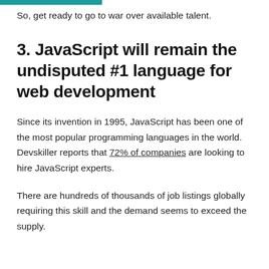So, get ready to go to war over available talent.
3. JavaScript will remain the undisputed #1 language for web development
Since its invention in 1995, JavaScript has been one of the most popular programming languages in the world. Devskiller reports that 72% of companies are looking to hire JavaScript experts.
There are hundreds of thousands of job listings globally requiring this skill and the demand seems to exceed the supply.